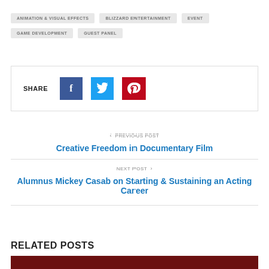ANIMATION & VISUAL EFFECTS
BLIZZARD ENTERTAINMENT
EVENT
GAME DEVELOPMENT
GUEST PANEL
SHARE
< PREVIOUS POST
Creative Freedom in Documentary Film
NEXT POST >
Alumnus Mickey Casab on Starting & Sustaining an Acting Career
RELATED POSTS